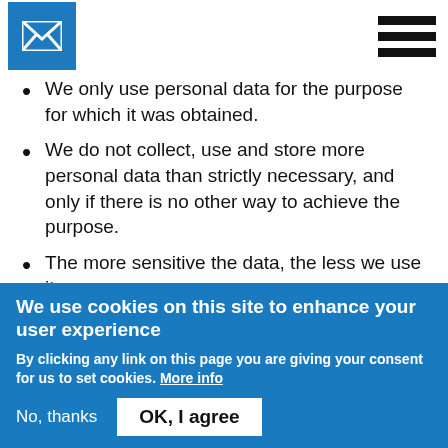[Figure (logo): Blue square with white envelope/mail icon]
[Figure (other): Hamburger menu icon with three horizontal black bars]
We only use personal data for the purpose for which it was obtained.
We do not collect, use and store more personal data than strictly necessary, and only if there is no other way to achieve the purpose.
The more sensitive the data, the less we use it.
We only use personal data if there is a legal ground to do so.
We use cookies on this site to enhance your user experience
By clicking any link on this page you are giving your consent for us to set cookies. More info
No, thanks   OK, I agree